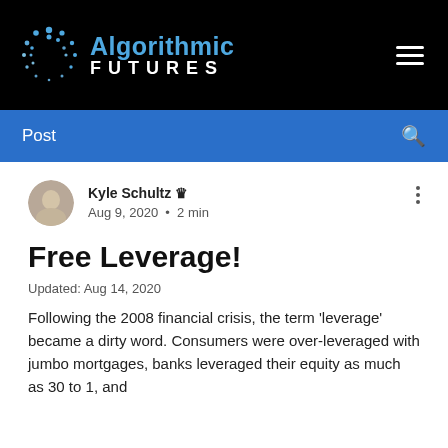Algorithmic FUTURES
Post
Kyle Schultz 👑
Aug 9, 2020 • 2 min
Free Leverage!
Updated: Aug 14, 2020
Following the 2008 financial crisis, the term 'leverage' became a dirty word. Consumers were over-leveraged with jumbo mortgages, banks leveraged their equity as much as 30 to 1, and